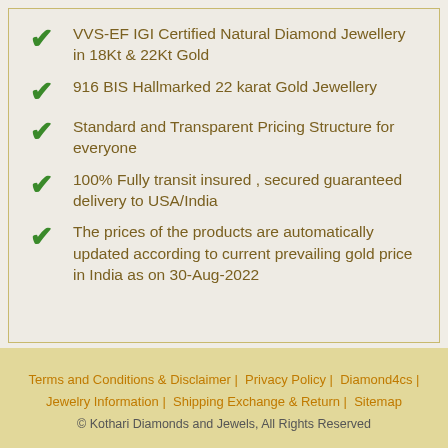VVS-EF IGI Certified Natural Diamond Jewellery in 18Kt & 22Kt Gold
916 BIS Hallmarked 22 karat Gold Jewellery
Standard and Transparent Pricing Structure for everyone
100% Fully transit insured , secured guaranteed delivery to USA/India
The prices of the products are automatically updated according to current prevailing gold price in India as on 30-Aug-2022
Terms and Conditions & Disclaimer | Privacy Policy | Diamond4cs | Jewelry Information | Shipping Exchange & Return | Sitemap
© Kothari Diamonds and Jewels, All Rights Reserved